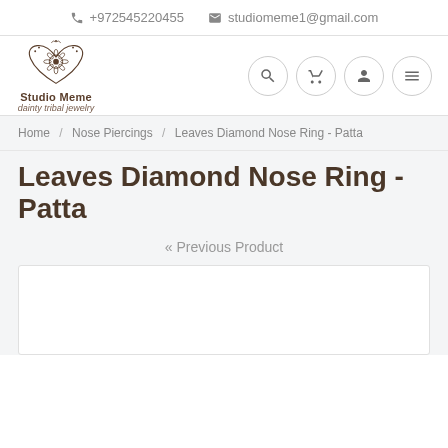+972545220455  studiomeme1@gmail.com
[Figure (logo): Studio Meme dainty tribal jewelry logo with decorative heart and floral motif]
Home / Nose Piercings / Leaves Diamond Nose Ring - Patta
Leaves Diamond Nose Ring - Patta
« Previous Product
[Figure (photo): Product image area, white box placeholder]